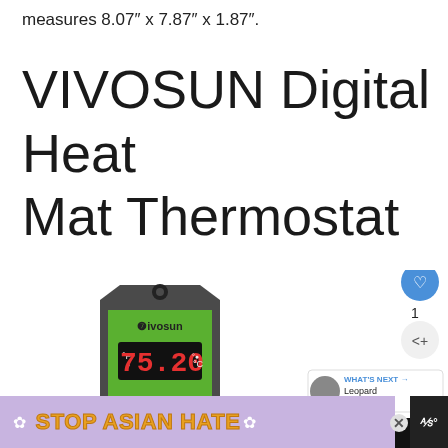measures 8.07″ x 7.87″ x 1.87″.
VIVOSUN Digital Heat Mat Thermostat
[Figure (photo): Product photo of VIVOSUN Digital Heat Mat Thermostat controller showing a black and green device with a digital display showing 75.20°F/°C, along with a power plug and temperature probe. Overlaid with social media UI elements (heart button, share button, count '1', 'WHAT'S NEXT' card showing 'Leopard Gecko...'). At the bottom is a 'STOP ASIAN HATE' banner advertisement with floral design and a cartoon figure.]